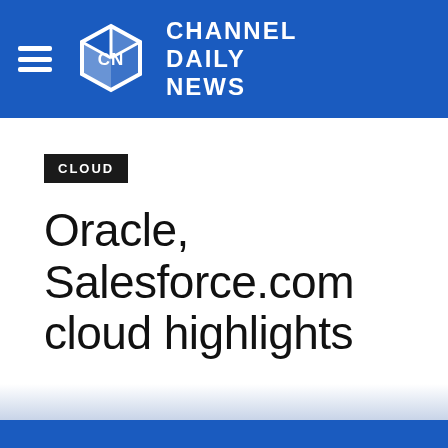CHANNEL DAILY NEWS
CLOUD
Oracle, Salesforce.com cloud highlights
CDN STAFF   JULY 2, 2013